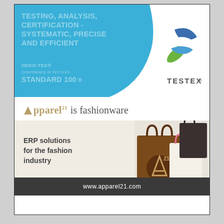[Figure (illustration): TESTEX advertisement with blue background. Text reads: 'TESTING, ANALYSIS, CERTIFICATION - SYSTEMATIC, PRECISE AND EFFICIENT'. Logo includes OEKO-TEX STANDARD 100 mark and TESTEX logo with blue and green swoosh design.]
[Figure (illustration): Apparel21 advertisement. Header: 'Apparel21 is fashionware'. Image shows shopping bags. Text: 'ERP solutions for the fashion industry'. Footer: 'www.apparel21.com'.]